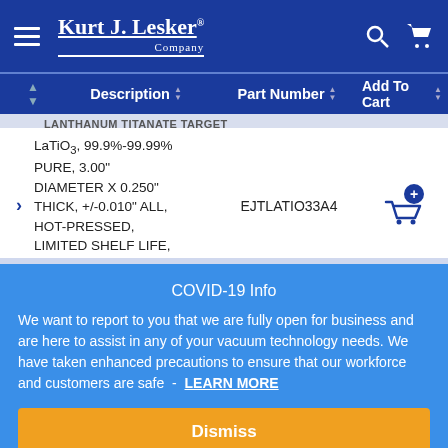Kurt J. Lesker Company
| Description | Part Number | Add To Cart |
| --- | --- | --- |
| LaTiO3, 99.9%-99.99% PURE, 3.00" DIAMETER X 0.250" THICK, +/-0.010" ALL, HOT-PRESSED, LIMITED SHELF LIFE, BEST EFFORTS | EJTLATIO33A4 |  |
COVID-19 Info
We want to report to you that we are fully open for business and are here to assist in any of your vacuum technology needs. We have taken enhanced precautions to ensure that our workforce and customers are safe -  LEARN MORE
Dismiss
LANTHANUM TITANATE TARGET